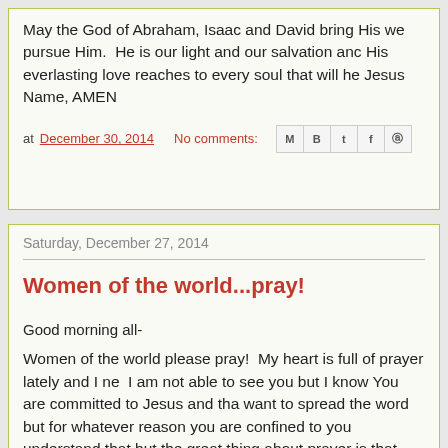May the God of Abraham, Isaac and David bring His we pursue Him.  He is our light and our salvation anc His everlasting love reaches to every soul that will he Jesus Name, AMEN
at December 30, 2014   No comments:
Saturday, December 27, 2014
Women of the world...pray!
Good morning all-
Women of the world please pray!  My heart is full of prayer lately and I ne  I am not able to see you but I know You are committed to Jesus and tha want to spread the word but for whatever reason you are confined to you understand that but the great thing about prayer is that you can do it fror cell, anywhere.  No man can keep prayer from our minds and hearts.  W crushed and still if we have hope in our Savior, no one can keep us dowr